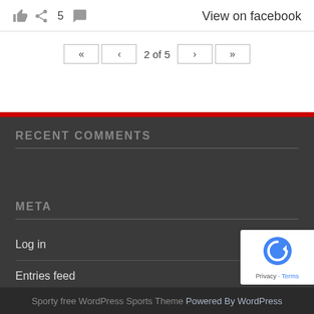👍 ↪ 5 💬   View on facebook
« ‹ 2 of 5 › »
RECENT COMMENTS
META
Log in
Entries feed
Comments feed
WordPress.org
Sporty free WordPress Sports Theme Powered By WordPress